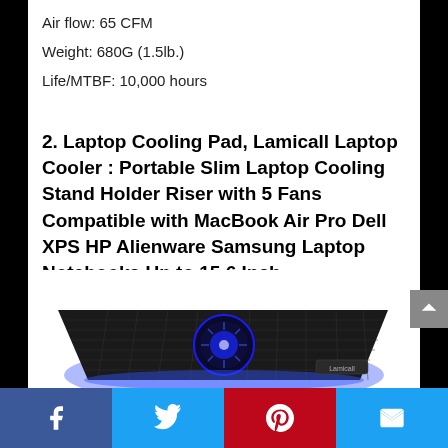Air flow: 65 CFM
Weight: 680G (1.5lb.)
Life/MTBF: 10,000 hours
2. Laptop Cooling Pad, Lamicall Laptop Cooler : Portable Slim Laptop Cooling Stand Holder Riser with 5 Fans Compatible with MacBook Air Pro Dell XPS HP Alienware Samsung Laptop Notebooks Up to 15.6 Inch
[Figure (photo): Lamicall laptop cooling pad with blue LED fans, viewed from above at an angle, partially cropped at bottom of page]
Facebook | Twitter | Pinterest | Email (social share bar)